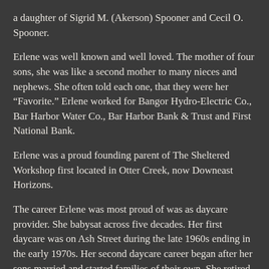a daughter of Sigrid M. (Akerson) Spooner and Cecil O. Spooner.
Erlene was well known and well loved. The mother of four sons, she was like a second mother to many nieces and nephews. She often told each one, that they were her “Favorite.” Erlene worked for Bangor Hydro-Electric Co., Bar Harbor Water Co., Bar Harbor Bank & Trust and First National Bank.
Erlene was a proud founding parent of The Sheltered Workshop first located in Otter Creek, now Downeast Horizons.
The career Erlene was most proud of was as daycare provider. She babysat across five decades. Her first daycare was on Ash Street during the late 1960s ending in the early 1970s. Her second daycare career began after her sons married and started families of their own. She retired from Bangor Hydro-Electric in 1985 and until 2000, the Harding home was full of